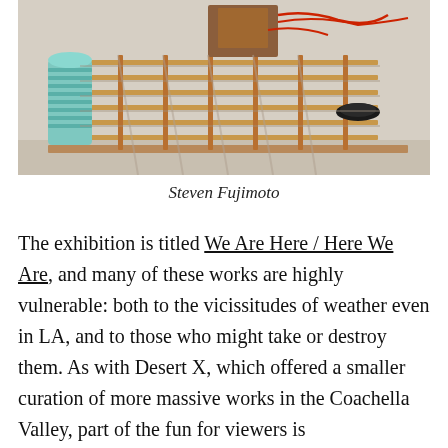[Figure (photo): Photograph of an art installation or sculpture by Steven Fujimoto — a horizontal assemblage of wooden rods/bamboo poles arranged in a grid-like ladder structure, with various components including a light blue cylindrical ribbed object on the left side, a small black oval object on the right side, and red wires/cables at the top. The piece casts shadows on a light-colored wall background.]
Steven Fujimoto
The exhibition is titled We Are Here / Here We Are, and many of these works are highly vulnerable: both to the vicissitudes of weather even in LA, and to those who might take or destroy them. As with Desert X, which offered a smaller curation of more massive works in the Coachella Valley, part of the fun for viewers is